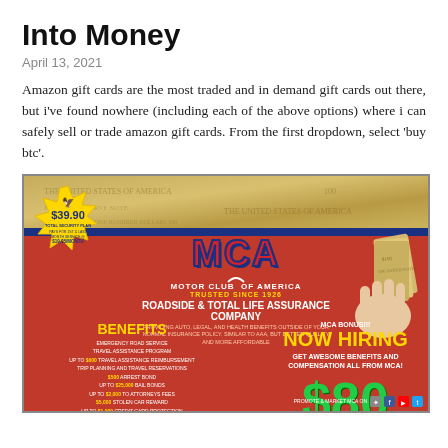Into Money
April 13, 2021
Amazon gift cards are the most traded and in demand gift cards out there, but i've found nowhere (including each of the above options) where i can safely sell or trade amazon gift cards. From the first dropdown, select 'buy btc'.
[Figure (infographic): MCA Motor Club of America advertisement. Red background with money imagery. Shows $39.90 Total Security Plan badge, MCA logo, Roadside & Total Life Assurance Company details, Benefits list including emergency road service, travel assistance, bail bonds, attorneys fees, stolen car reward, credit card protection, dental discounts, hospital benefit, accidental death benefit. NOW HIRING section showing $80 per referral. Social media icons at bottom.]